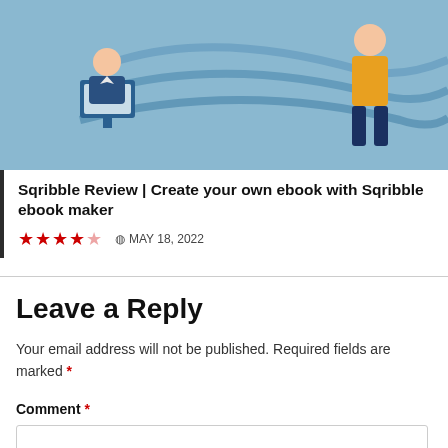[Figure (illustration): Illustration showing office workers at computers with blue background]
Sqribble Review | Create your own ebook with Sqribble ebook maker
★★★★☆  MAY 18, 2022
Leave a Reply
Your email address will not be published. Required fields are marked *
Comment *